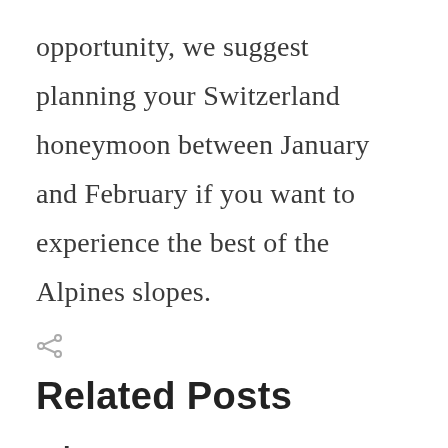opportunity, we suggest planning your Switzerland honeymoon between January and February if you want to experience the best of the Alpines slopes.
[Figure (other): Share icon (less-than style share symbol)]
Related Posts
The Most Common